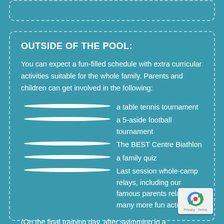OUTSIDE OF THE POOL:
You can expect a fun-filled schedule with extra curricular activities suitable for the whole family. Parents and children can get involved in the following:
a table tennis tournament
a 5-aside football tournament
The BEST Centre Biathlon
a family quiz
Last session whole-camp relays, including our famous parents relay, and many more fun activities!
(On the final training day, after swimming in a